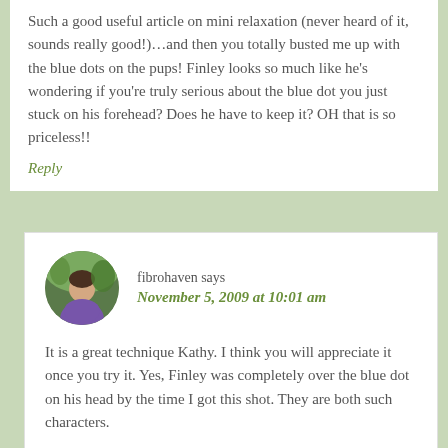Such a good useful article on mini relaxation (never heard of it, sounds really good!)…and then you totally busted me up with the blue dots on the pups! Finley looks so much like he's wondering if you're truly serious about the blue dot you just stuck on his forehead? Does he have to keep it? OH that is so priceless!!
Reply
fibrohaven says
November 5, 2009 at 10:01 am
It is a great technique Kathy. I think you will appreciate it once you try it. Yes, Finley was completely over the blue dot on his head by the time I got this shot. They are both such characters.